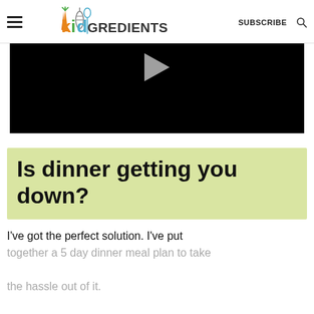kidGREDIENTS   SUBSCRIBE
[Figure (screenshot): Black video player thumbnail with a gray play button triangle at the top center]
Is dinner getting you down?
I've got the perfect solution. I've put together a 5 day dinner meal plan to take the hassle out of it.